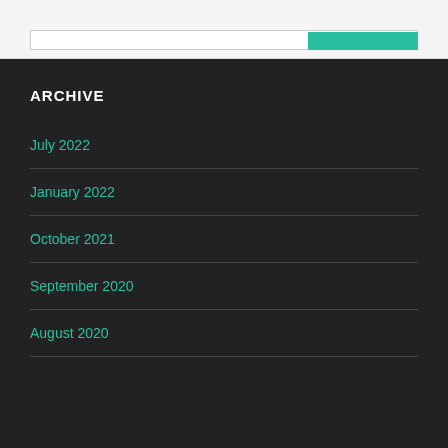ARCHIVE
July 2022
January 2022
October 2021
September 2020
August 2020